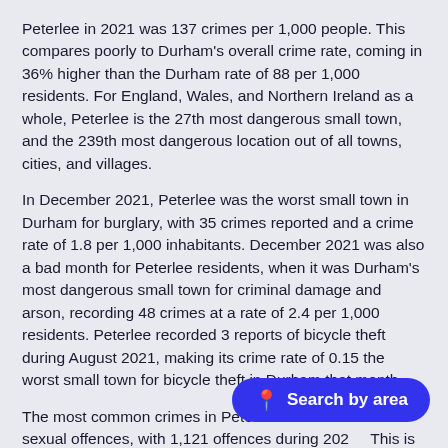Peterlee in 2021 was 137 crimes per 1,000 people. This compares poorly to Durham's overall crime rate, coming in 36% higher than the Durham rate of 88 per 1,000 residents. For England, Wales, and Northern Ireland as a whole, Peterlee is the 27th most dangerous small town, and the 239th most dangerous location out of all towns, cities, and villages.
In December 2021, Peterlee was the worst small town in Durham for burglary, with 35 crimes reported and a crime rate of 1.8 per 1,000 inhabitants. December 2021 was also a bad month for Peterlee residents, when it was Durham's most dangerous small town for criminal damage and arson, recording 48 crimes at a rate of 2.4 per 1,000 residents. Peterlee recorded 3 reports of bicycle theft during August 2021, making its crime rate of 0.15 the worst small town for bicycle theft in Durham that month.
The most common crimes in Peterlee are violence and sexual offences, with 1,121 offences during 202... This is 0.80% higher than 2020's figure of 1,112 offences and a...